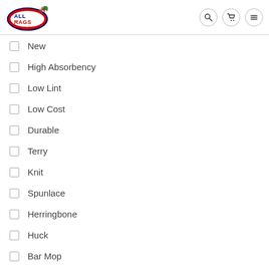All Rags - Best Sports Stores
New
High Absorbency
Low Lint
Low Cost
Durable
Terry
Knit
Spunlace
Herringbone
Huck
Bar Mop